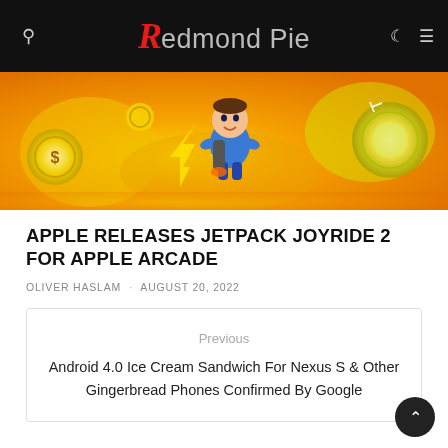Redmond Pie
[Figure (illustration): Jetpack Joyride 2 game artwork featuring an animated character in a blue outfit flying with a jetpack surrounded by yellow energy and coins]
APPLE RELEASES JETPACK JOYRIDE 2 FOR APPLE ARCADE
OLIVER HASLAM · AUGUST 20, 2022
Previous
Android 4.0 Ice Cream Sandwich For Nexus S & Other Gingerbread Phones Confirmed By Google